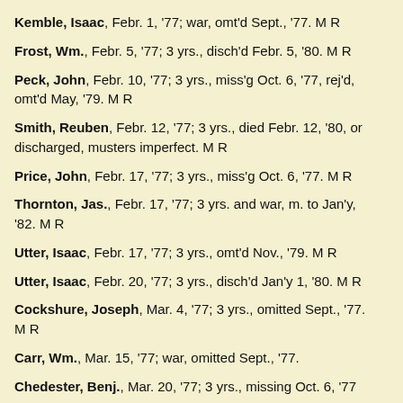Kemble, Isaac, Febr. 1, '77; war, omt'd Sept., '77. M R
Frost, Wm., Febr. 5, '77; 3 yrs., disch'd Febr. 5, '80. M R
Peck, John, Febr. 10, '77; 3 yrs., miss'g Oct. 6, '77, rej'd, omt'd May, '79. M R
Smith, Reuben, Febr. 12, '77; 3 yrs., died Febr. 12, '80, or discharged, musters imperfect. M R
Price, John, Febr. 17, '77; 3 yrs., miss'g Oct. 6, '77. M R
Thornton, Jas., Febr. 17, '77; 3 yrs. and war, m. to Jan'y, '82. M R
Utter, Isaac, Febr. 17, '77; 3 yrs., omt'd Nov., '79. M R
Utter, Isaac, Febr. 20, '77; 3 yrs., disch'd Jan'y 1, '80. M R
Cockshure, Joseph, Mar. 4, '77; 3 yrs., omitted Sept., '77. M R
Carr, Wm., Mar. 15, '77; war, omitted Sept., '77.
Chedester, Benj., Mar. 20, '77; 3 yrs., missing Oct. 6, '77